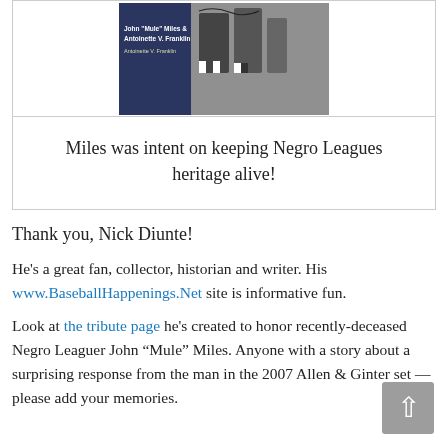[Figure (illustration): Book cover image showing a baseball player, with text 'John "Mule" Miles & Antoinette V. Franklin' overlaid on a dark blue and black-and-white photograph]
Miles was intent on keeping Negro Leagues heritage alive!
Thank you, Nick Diunte!
He's a great fan, collector, historian and writer. His www.BaseballHappenings.Net site is informative fun.
Look at the tribute page he's created to honor recently-deceased Negro Leaguer John “Mule” Miles. Anyone with a story about a surprising response from the man in the 2007 Allen & Ginter set — please add your memories.